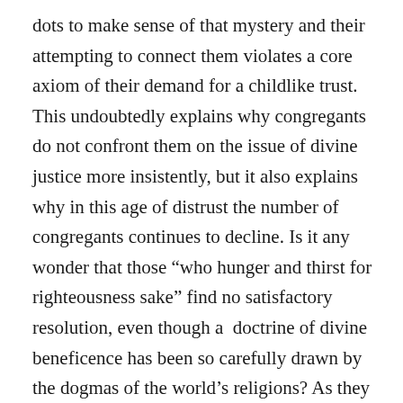dots to make sense of that mystery and their attempting to connect them violates a core axiom of their demand for a childlike trust. This undoubtedly explains why congregants do not confront them on the issue of divine justice more insistently, but it also explains why in this age of distrust the number of congregants continues to decline. Is it any wonder that those “who hunger and thirst for righteousness sake” find no satisfactory resolution, even though a  doctrine of divine beneficence has been so carefully drawn by the dogmas of the world’s religions? As they fail in that explanatory task, perhaps because they fail, they remind their questioner in the same breath to abandon reason altogether and summon a blind faith in God’s mysterious otherness. Is the congregation at this juncture entitled to remind their theologians that their dogma also confidently proclaims the divine order that